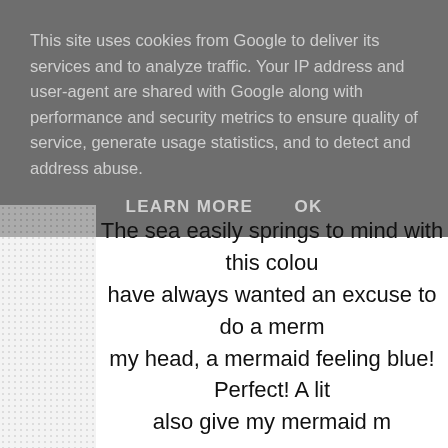This site uses cookies from Google to deliver its services and to analyze traffic. Your IP address and user-agent are shared with Google along with performance and security metrics to ensure quality of service, generate usage statistics, and to detect and address abuse.
LEARN MORE    OK
The sea easily springs to mind with this colou have always wanted an excuse to do a merm my head, a mermaid feeling blue! Perfect! A lit also give my mermaid m
I always start with a pencil sketch. Normally times using layout paper but more recen been scanning the first rough sketch to th onto that in an effort to loosen up my style. I li found I was losing it the mo